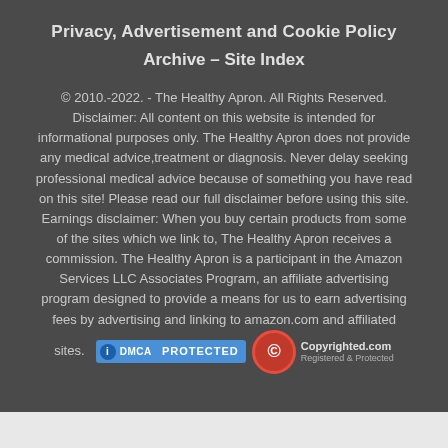Privacy, Advertisement and Cookie Policy
Archive – Site Index
© 2010.-2022. - The Healthy Apron. All Rights Reserved. Disclaimer: All content on this website is intended for informational purposes only. The Healthy Apron does not provide any medical advice,treatment or diagnosis. Never delay seeking professional medical advice because of something you have read on this site! Please read our full disclaimer before using this site. Earnings disclaimer: When you buy certain products from some of the sites which we link to, The Healthy Apron receives a commission. The Healthy Apron is a participant in the Amazon Services LLC Associates Program, an affiliate advertising program designed to provide a means for us to earn advertising fees by advertising and linking to amazon.com and affiliated sites.
[Figure (logo): DMCA Protected badge and Copyrighted.com Registered & Protected badge]
×